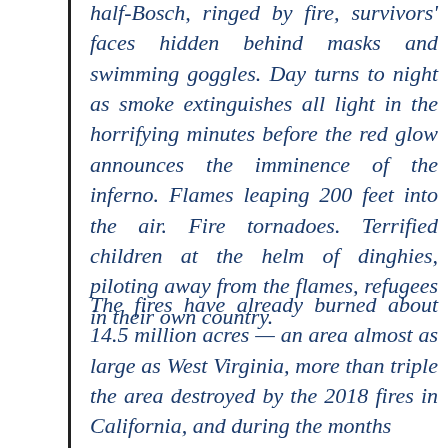half-Bosch, ringed by fire, survivors' faces hidden behind masks and swimming goggles. Day turns to night as smoke extinguishes all light in the horrifying minutes before the red glow announces the imminence of the inferno. Flames leaping 200 feet into the air. Fire tornadoes. Terrified children at the helm of dinghies, piloting away from the flames, refugees in their own country.
The fires have already burned about 14.5 million acres — an area almost as large as West Virginia, more than triple the area destroyed by the 2018 fires in California, and during the months